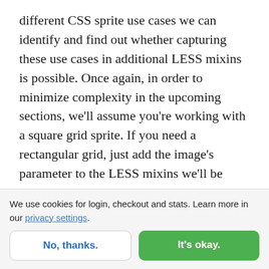different CSS sprite use cases we can identify and find out whether capturing these use cases in additional LESS mixins is possible. Once again, in order to minimize complexity in the upcoming sections, we'll assume you're working with a square grid sprite. If you need a rectangular grid, just add the image's parameter to the LESS mixins we'll be working with, and everything should be fine.
For each use case, we'll define two mixins: one with
We use cookies for login, checkout and stats. Learn more in our privacy settings.